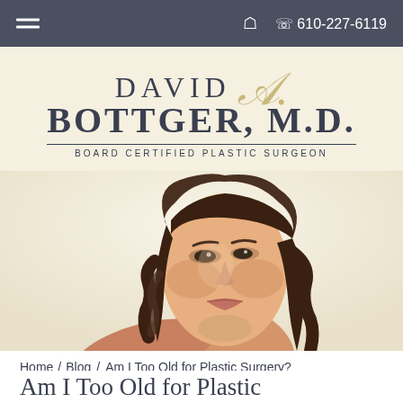≡  🔍  📞 610-227-6119
DAVID A. BOTTGER, M.D. BOARD CERTIFIED PLASTIC SURGEON
[Figure (photo): Close-up portrait of a young woman with long wavy brown hair, looking over her shoulder against a cream background]
Home / Blog / Am I Too Old for Plastic Surgery?
Am I Too Old for Plastic